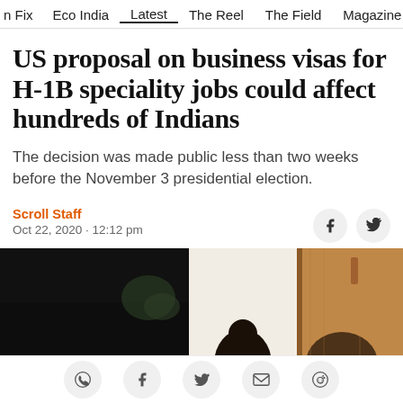n Fix   Eco India   Latest   The Reel   The Field   Magazine   Vi
US proposal on business visas for H-1B speciality jobs could affect hundreds of Indians
The decision was made public less than two weeks before the November 3 presidential election.
Scroll Staff
Oct 22, 2020 · 12:12 pm
[Figure (photo): Photo of people in a meeting room or office setting, dark left section with silhouetted figures, lighter center section, and wooden door on the right.]